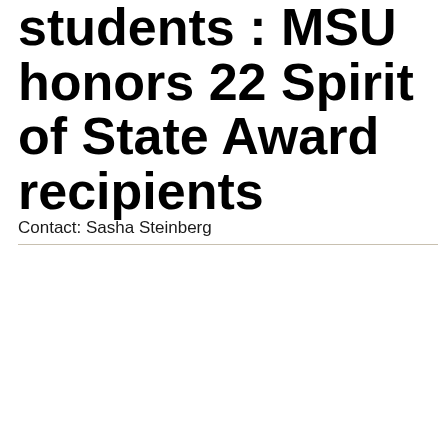students : MSU honors 22 Spirit of State Award recipients
Contact:  Sasha Steinberg